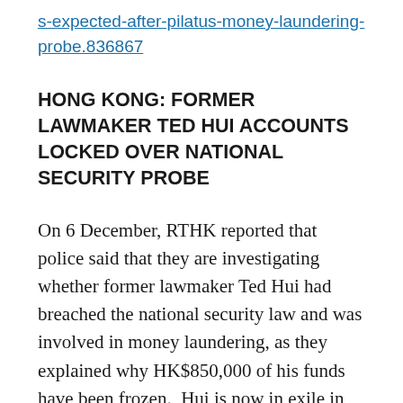s-expected-after-pilatus-money-laundering-probe.836867
HONG KONG: FORMER LAWMAKER TED HUI ACCOUNTS LOCKED OVER NATIONAL SECURITY PROBE
On 6 December, RTHK reported that police said that they are investigating whether former lawmaker Ted Hui had breached the national security law and was involved in money laundering, as they explained why HK$850,000 of his funds have been frozen.  Hui is now in exile in the UK, and had complained that at least 5 bank accounts belonging to him and his family members had been frozen shortly after